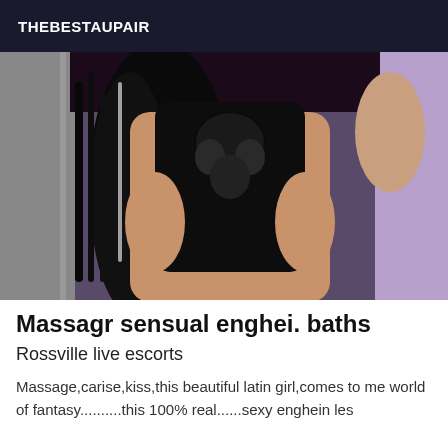THEBESTAUPAIR
[Figure (photo): A woman wearing a black lace bodysuit posing indoors against a light purple/lavender wall background]
Massagr sensual enghei. baths
Rossville live escorts
Massage,carise,kiss,this beautiful latin girl,comes to me world of fantasy..........this 100% real......sexy enghein les